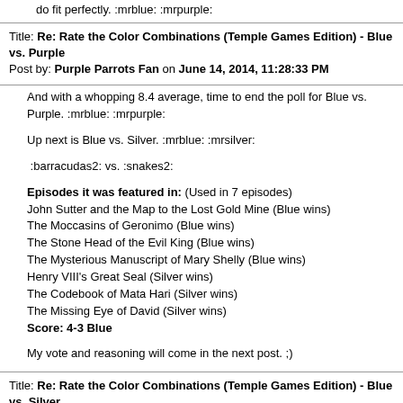do fit perfectly. :mrblue: :mrpurple:
Title: Re: Rate the Color Combinations (Temple Games Edition) - Blue vs. Purple
Post by: Purple Parrots Fan on June 14, 2014, 11:28:33 PM
And with a whopping 8.4 average, time to end the poll for Blue vs. Purple. :mrblue: :mrpurple:
Up next is Blue vs. Silver. :mrblue: :mrsilver:
:barracudas2: vs. :snakes2:
Episodes it was featured in: (Used in 7 episodes)
John Sutter and the Map to the Lost Gold Mine (Blue wins)
The Moccasins of Geronimo (Blue wins)
The Stone Head of the Evil King (Blue wins)
The Mysterious Manuscript of Mary Shelly (Blue wins)
Henry VIII's Great Seal (Silver wins)
The Codebook of Mata Hari (Silver wins)
The Missing Eye of David (Silver wins)
Score: 4-3 Blue
My vote and reasoning will come in the next post. ;)
Title: Re: Rate the Color Combinations (Temple Games Edition) - Blue vs. Silver
Post by: Purple Parrots Fan on June 14, 2014, 11:35:12 PM